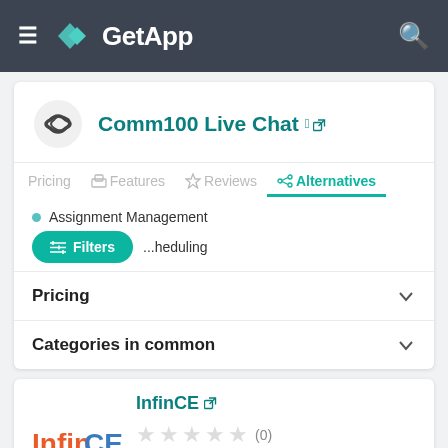GetApp
Comm100 Live Chat
Pricing  Features  Reviews  Alternatives
Assignment Management
...heduling
Filters
Pricing
Categories in common
InfinCE
(0)